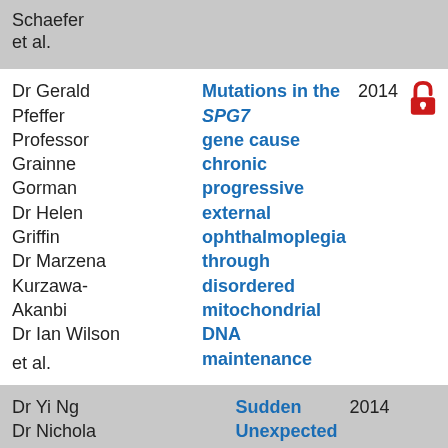| Authors | Title | Year |  |
| --- | --- | --- | --- |
| Schaefer
et al. |  |  |  |
| Dr Gerald Pfeffer
Professor Grainne Gorman
Dr Helen Griffin
Dr Marzena Kurzawa-Akanbi
Dr Ian Wilson
et al. | Mutations in the SPG7 gene cause chronic progressive external ophthalmoplegia through disordered mitochondrial DNA maintenance | 2014 | open-access |
| Dr Yi Ng
Dr Nichola Lax
Dr Andrew Schaefer
Professor… | Sudden Unexpected Death in Adults with M.3243A>G Mutation | 2014 |  |